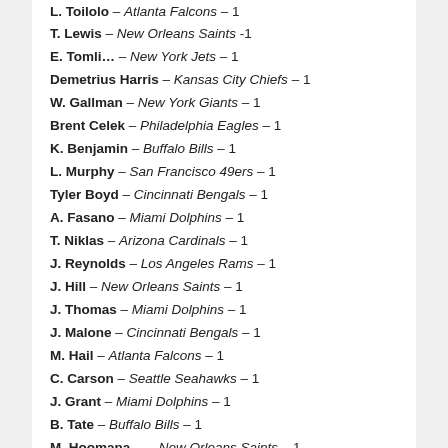L. Toilolo – Atlanta Falcons – 1
T. Lewis – New Orleans Saints -1
E. Tomli… – New York Jets – 1
Demetrius Harris – Kansas City Chiefs – 1
W. Gallman – New York Giants – 1
Brent Celek – Philadelphia Eagles – 1
K. Benjamin – Buffalo Bills – 1
L. Murphy – San Francisco 49ers – 1
Tyler Boyd – Cincinnati Bengals – 1
A. Fasano – Miami Dolphins – 1
T. Niklas – Arizona Cardinals – 1
J. Reynolds – Los Angeles Rams – 1
J. Hill – New Orleans Saints – 1
J. Thomas – Miami Dolphins – 1
J. Malone – Cincinnati Bengals – 1
M. Hail – Atlanta Falcons – 1
C. Carson – Seattle Seahawks – 1
J. Grant – Miami Dolphins – 1
B. Tate – Buffalo Bills – 1
M. Hoomana… – New Orleans Saints – 1
D. Allen – New England Patriots – 1
M. Lynel… – Washington Redskins – 1